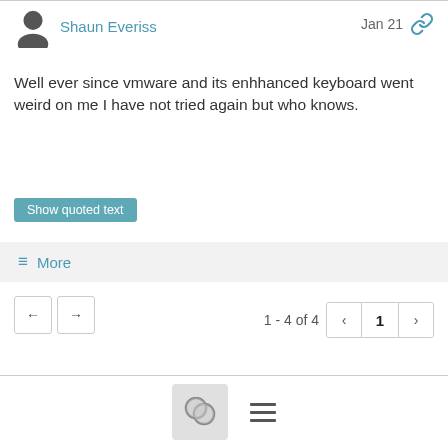Shaun Everiss
Jan 21
Well ever since vmware and its enhhanced keyboard went weird on me I have not tried again but who knows.
Show quoted text
≡ More
1 - 4 of 4
1